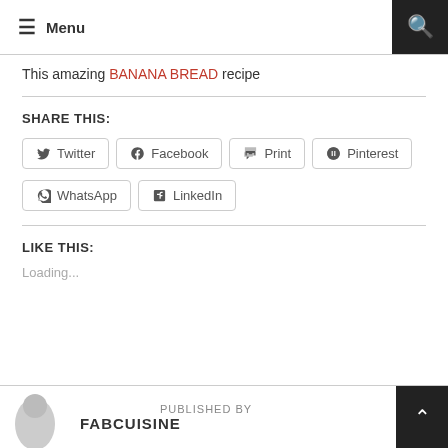Menu
This amazing BANANA BREAD recipe
SHARE THIS:
Twitter
Facebook
Print
Pinterest
WhatsApp
LinkedIn
LIKE THIS:
Loading...
PUBLISHED BY FABCUISINE